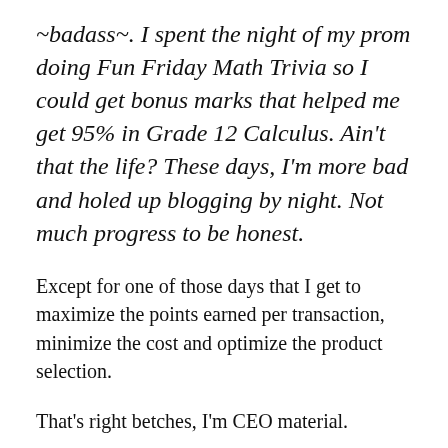~badass~. I spent the night of my prom doing Fun Friday Math Trivia so I could get bonus marks that helped me get 95% in Grade 12 Calculus. Ain't that the life? These days, I'm more bad and holed up blogging by night. Not much progress to be honest.
Except for one of those days that I get to maximize the points earned per transaction, minimize the cost and optimize the product selection.
That's right betches, I'm CEO material.
Some weeks ago, I got a preview of the